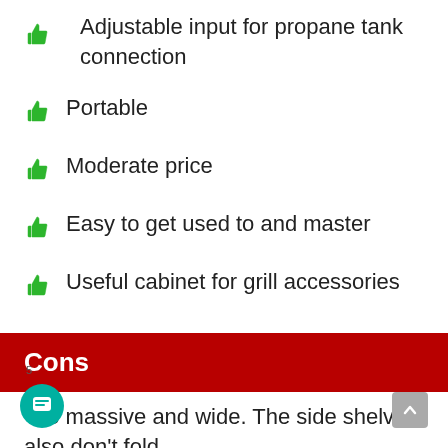Adjustable input for propane tank connection
Portable
Moderate price
Easy to get used to and master
Useful cabinet for grill accessories
Cons
Too massive and wide. The side shelves also don't fold